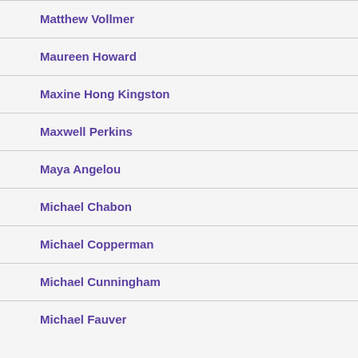Matthew Vollmer
Maureen Howard
Maxine Hong Kingston
Maxwell Perkins
Maya Angelou
Michael Chabon
Michael Copperman
Michael Cunningham
Michael Fauver